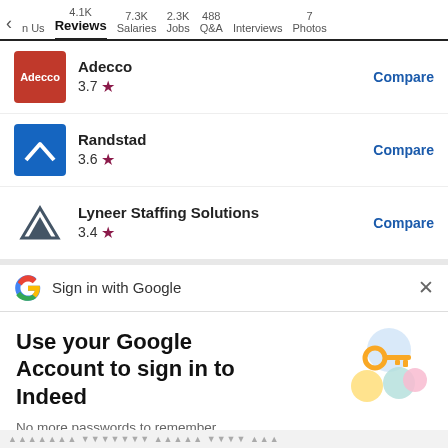n Us | 4.1K Reviews | 7.3K Salaries | 2.3K Jobs | 488 Q&A | Interviews | 7 Photos
Adecco 3.7 ★ Compare
Randstad 3.6 ★ Compare
Lyneer Staffing Solutions 3.4 ★ Compare
[Figure (screenshot): Google sign-in prompt banner with Google G logo and X close button, text: Sign in with Google]
Use your Google Account to sign in to Indeed
No more passwords to remember. Signing in is fast, simple and secure.
[Figure (illustration): Google account key illustration with colorful circular shapes and a gold key]
Continue